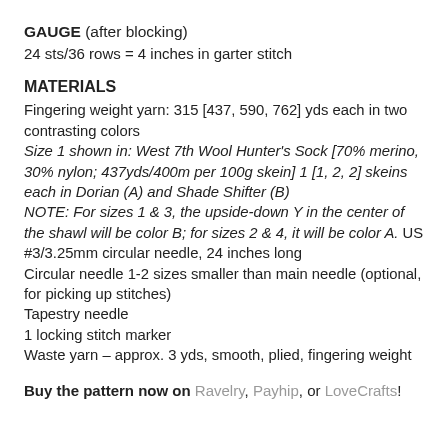GAUGE (after blocking)
24 sts/36 rows = 4 inches in garter stitch
MATERIALS
Fingering weight yarn: 315 [437, 590, 762] yds each in two contrasting colors
Size 1 shown in: West 7th Wool Hunter's Sock [70% merino, 30% nylon; 437yds/400m per 100g skein] 1 [1, 2, 2] skeins each in Dorian (A) and Shade Shifter (B)
NOTE: For sizes 1 & 3, the upside-down Y in the center of the shawl will be color B; for sizes 2 & 4, it will be color A. US #3/3.25mm circular needle, 24 inches long
Circular needle 1-2 sizes smaller than main needle (optional, for picking up stitches)
Tapestry needle
1 locking stitch marker
Waste yarn – approx. 3 yds, smooth, plied, fingering weight
Buy the pattern now on Ravelry, Payhip, or LoveCrafts!